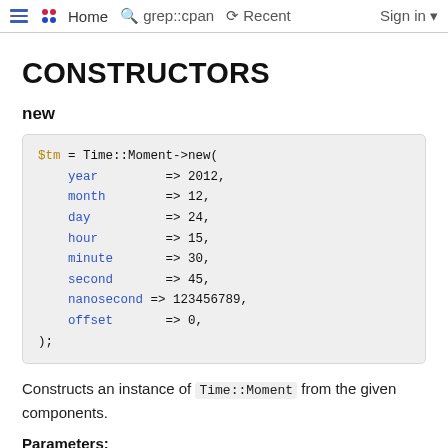≡  •• Home  🔍 grep::cpan  ⟳ Recent  Sign in ▼
CONSTRUCTORS
new
$tm = Time::Moment->new(
    year        => 2012,
    month       => 12,
    day         => 24,
    hour        => 15,
    minute      => 30,
    second      => 45,
    nanosecond  => 123456789,
    offset      => 0,
);
Constructs an instance of Time::Moment from the given components.
Parameters: